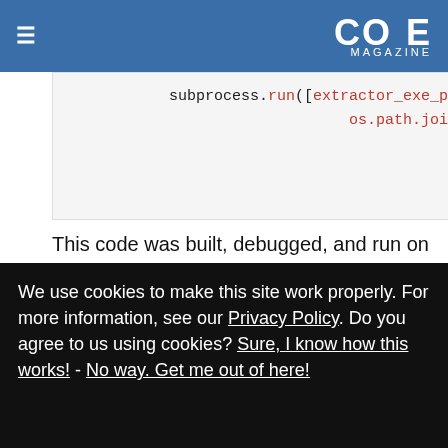CODE MAGAZINE
[Figure (screenshot): Code snippet showing subprocess.run([extractor_exe_pat and os.path.join(dire in monospace font with red and black coloring on a light gray background]
This code was built, debugged, and run on my Windows development box. The goal was to get it working as fast as possible on my main development box before moving it onto a Mac.
Here's a link to the Gist of the code:
https://gist.github.com/rjpaddock/d53956767dd4a1fe26
We use cookies to make this site work properly. For more information, see our Privacy Policy. Do you agree to us using cookies? Sure, I know how this works! - No way. Get me out of here!